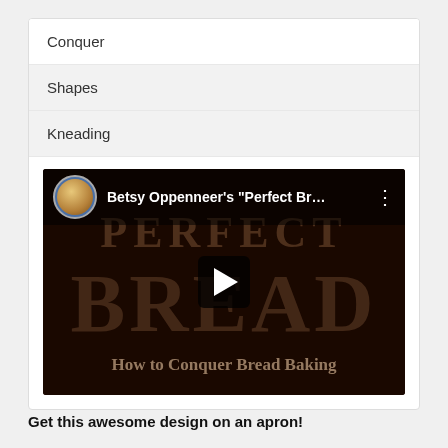Conquer
Shapes
Kneading
[Figure (screenshot): YouTube video thumbnail screenshot showing Betsy Oppenneer's 'Perfect Br...' video with dark brown background showing large text 'PERFECT BREAD' and subtitle 'How to Conquer Bread Baking', with play button in center]
Get this awesome design on an apron!